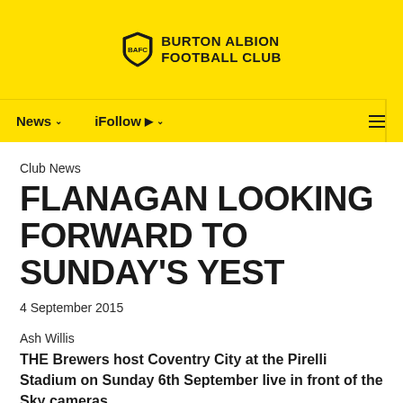BURTON ALBION FOOTBALL CLUB
News  iFollow
Club News
FLANAGAN LOOKING FORWARD TO SUNDAY'S YEST
4 September 2015
Ash Willis
THE Brewers host Coventry City at the Pirelli Stadium on Sunday 6th September live in front of the Sky cameras.